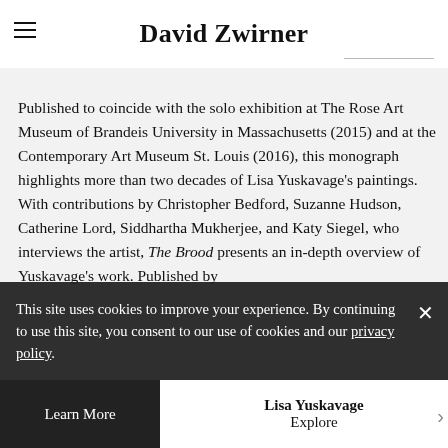David Zwirner
Published to coincide with the solo exhibition at The Rose Art Museum of Brandeis University in Massachusetts (2015) and at the Contemporary Art Museum St. Louis (2016), this monograph highlights more than two decades of Lisa Yuskavage’s paintings. With contributions by Christopher Bedford, Suzanne Hudson, Catherine Lord, Siddhartha Mukherjee, and Katy Siegel, who interviews the artist, The Brood presents an in-depth overview of Yuskavage’s work. Published by Lisa Yuskavage
This site uses cookies to improve your experience. By continuing to use this site, you consent to our use of cookies and our privacy policy.
Lisa Yuskavage
Explore